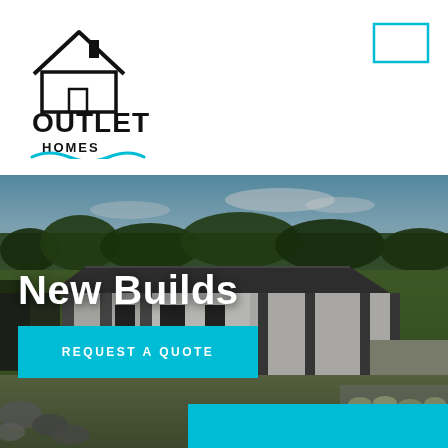[Figure (logo): Outlet Homes logo with house icon and wavy blue underline]
[Figure (other): Small cyan square outline — navigation/menu icon in top right corner]
[Figure (photo): Aerial/elevated photo of a modern single-storey house with dark roof, white and grey cladding, covered outdoor area, set in a rural green landscape with trees in background and gravel/grass yard in foreground.]
New Builds
REQUEST A QUOTE